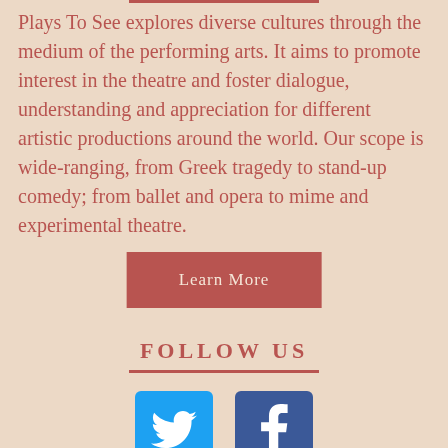Plays To See explores diverse cultures through the medium of the performing arts. It aims to promote interest in the theatre and foster dialogue, understanding and appreciation for different artistic productions around the world. Our scope is wide-ranging, from Greek tragedy to stand-up comedy; from ballet and opera to mime and experimental theatre.
[Figure (other): Learn More button — dark red/burgundy rectangular button with white text]
FOLLOW US
[Figure (other): Social media icons: Twitter (blue bird icon) and Facebook (blue f icon)]